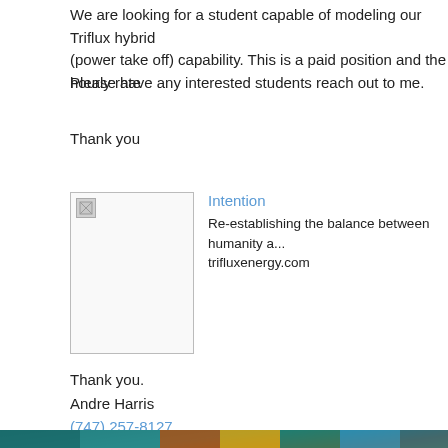We are looking for a student capable of modeling our Triflux hybrid (power take off) capability. This is a paid position and the hourly rate
Please have any interested students reach out to me.
Thank you
[Figure (other): Company card with broken image placeholder on left and text on right: 'Intention' in blue, 'Re-establishing the balance between humanity a...' and 'trifluxenergy.com']
Thank you.
Andre Harris
(747) 257-8127
trifluxenergy.com
posted 2/24/22
[Figure (photo): Colorful photo with teal, orange, yellow and blue tones at the bottom of the page]